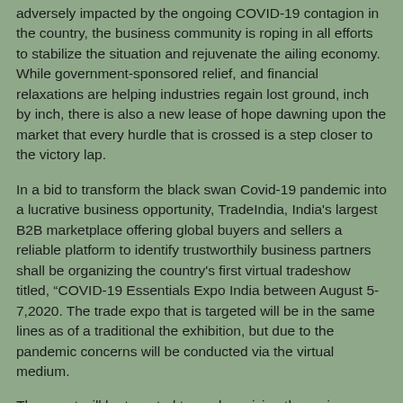adversely impacted by the ongoing COVID-19 contagion in the country, the business community is roping in all efforts to stabilize the situation and rejuvenate the ailing economy. While government-sponsored relief, and financial relaxations are helping industries regain lost ground, inch by inch, there is also a new lease of hope dawning upon the market that every hurdle that is crossed is a step closer to the victory lap.
In a bid to transform the black swan Covid-19 pandemic into a lucrative business opportunity, TradeIndia, India's largest B2B marketplace offering global buyers and sellers a reliable platform to identify trustworthily business partners shall be organizing the country's first virtual tradeshow titled, “COVID-19 Essentials Expo India between August 5-7,2020. The trade expo that is targeted will be in the same lines as of a traditional the exhibition, but due to the pandemic concerns will be conducted via the virtual medium.
The event will be targeted towards reviving the various SMEs and MSMEs of the country whose operations have been affected due to the dire effect of the corona virus crisis and helping them maintain business continuity in such